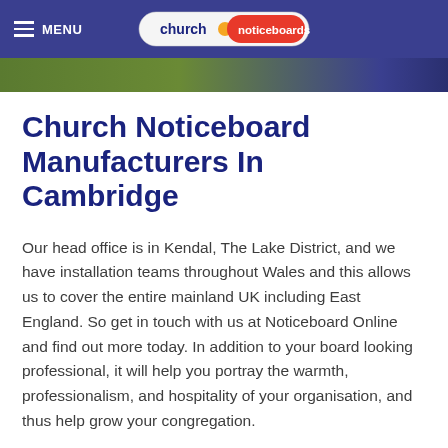MENU | church noticeboards
[Figure (photo): Partial image strip below header navigation bar showing green and blue tones]
Church Noticeboard Manufacturers In Cambridge
Our head office is in Kendal, The Lake District, and we have installation teams throughout Wales and this allows us to cover the entire mainland UK including East England. So get in touch with us at Noticeboard Online and find out more today. In addition to your board looking professional, it will help you portray the warmth, professionalism, and hospitality of your organisation, and thus help grow your congregation.